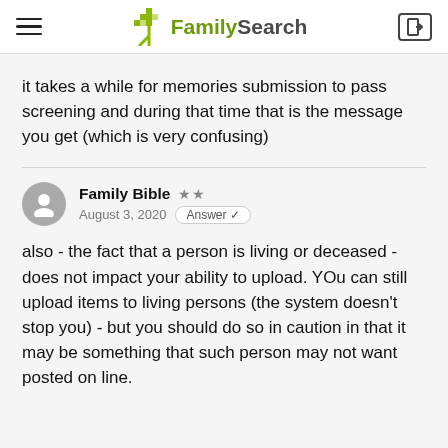FamilySearch
it takes a while for memories submission to pass screening and during that time that is the message you get (which is very confusing)
Family Bible  ★★
August 3, 2020  Answer ✓
also - the fact that a person is living or deceased - does not impact your ability to upload. YOu can still upload items to living persons (the system doesn't stop you) - but you should do so in caution in that it may be something that such person may not want posted on line.